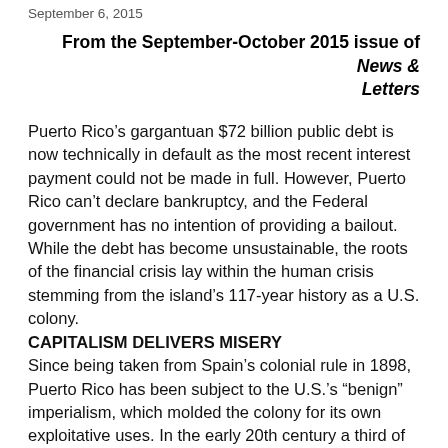September 6, 2015
From the September-October 2015 issue of News & Letters
Puerto Rico’s gargantuan $72 billion public debt is now technically in default as the most recent interest payment could not be made in full. However, Puerto Rico can’t declare bankruptcy, and the Federal government has no intention of providing a bailout. While the debt has become unsustainable, the roots of the financial crisis lay within the human crisis stemming from the island’s 117-year history as a U.S. colony.
CAPITALISM DELIVERS MISERY
Since being taken from Spain’s colonial rule in 1898, Puerto Rico has been subject to the U.S.’s “benign” imperialism, which molded the colony for its own exploitative uses. In the early 20th century a third of the land came under the control of U.S. absentee landlords.